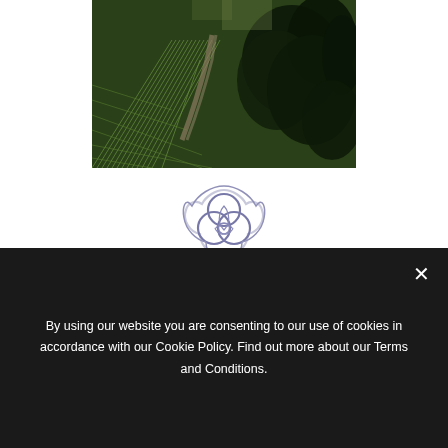[Figure (photo): Aerial view of vineyard rows with a path through trees, lush green landscape]
[Figure (logo): Terre Borromeo logo: a triquetra/trinity knot symbol in blue-grey with the brand name TERRE BORROMEO in red lettering, flanked by horizontal lines]
Stunning fairy-tale venues surrounded by
By using our website you are consenting to our use of cookies in accordance with our Cookie Policy. Find out more about our Terms and Conditions.